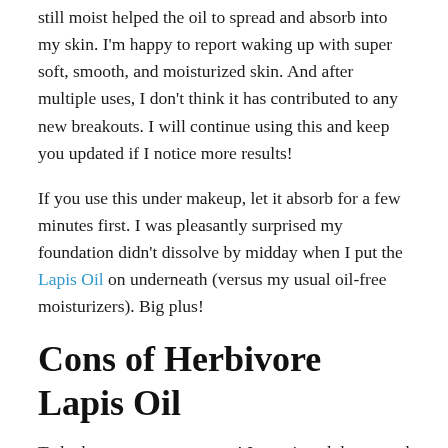still moist helped the oil to spread and absorb into my skin. I'm happy to report waking up with super soft, smooth, and moisturized skin. And after multiple uses, I don't think it has contributed to any new breakouts. I will continue using this and keep you updated if I notice more results!
If you use this under makeup, let it absorb for a few minutes first. I was pleasantly surprised my foundation didn't dissolve by midday when I put the Lapis Oil on underneath (versus my usual oil-free moisturizers). Big plus!
Cons of Herbivore Lapis Oil
To be honest, not very many! I mentioned the natural herbal scent above. Even though it's natural, some people may not like the scent so I encourage you to try